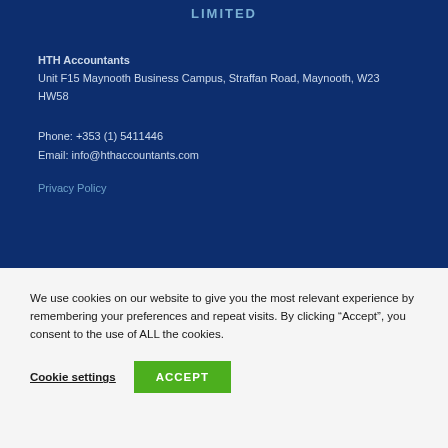LIMITED
HTH Accountants
Unit F15 Maynooth Business Campus, Straffan Road, Maynooth, W23 HW58
Phone: +353 (1) 5411446
Email: info@hthaccountants.com
Privacy Policy
We use cookies on our website to give you the most relevant experience by remembering your preferences and repeat visits. By clicking “Accept”, you consent to the use of ALL the cookies.
Cookie settings   ACCEPT